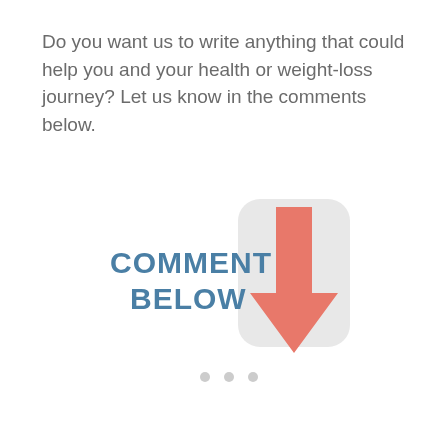Do you want us to write anything that could help you and your health or weight-loss journey? Let us know in the comments below.
[Figure (infographic): Graphic with bold steel-blue text reading 'COMMENT BELOW' next to a large red downward arrow icon with a light gray rounded background.]